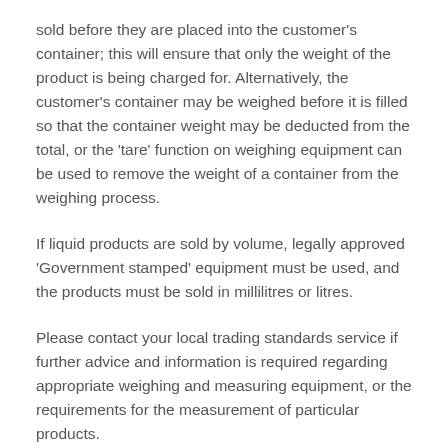sold before they are placed into the customer's container; this will ensure that only the weight of the product is being charged for. Alternatively, the customer's container may be weighed before it is filled so that the container weight may be deducted from the total, or the 'tare' function on weighing equipment can be used to remove the weight of a container from the weighing process.
If liquid products are sold by volume, legally approved 'Government stamped' equipment must be used, and the products must be sold in millilitres or litres.
Please contact your local trading standards service if further advice and information is required regarding appropriate weighing and measuring equipment, or the requirements for the measurement of particular products.